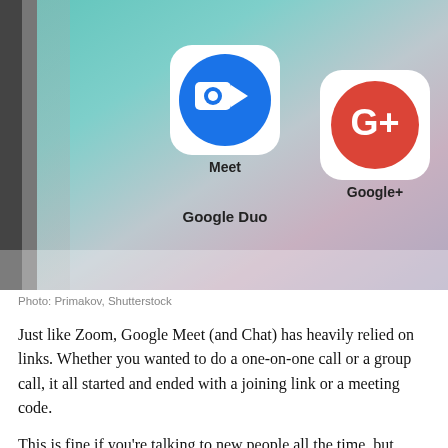[Figure (photo): Close-up of a smartphone screen showing Google Meet (Google Duo) and Google+ app icons on the home screen]
Photo: Primakov, Shutterstock
Just like Zoom, Google Meet (and Chat) has heavily relied on links. Whether you wanted to do a one-on-one call or a group call, it all started and ended with a joining link or a meeting code.
This is fine if you're talking to new people all the time, but when you're calling the same people from work (Google Chat is, after all, a work chat app), it can get annoying. Google has wised up though, and now you can use regular buttons to make one-on-one voice or video calls, just as you can in Google Duo. What's more, the feature works in the most